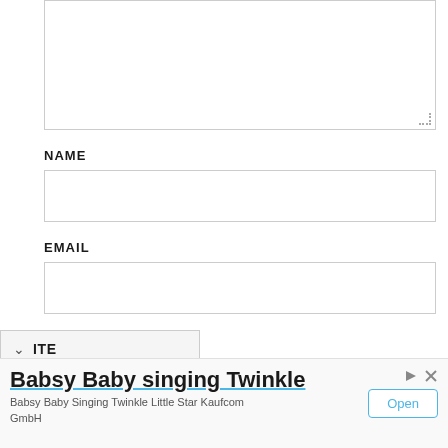[Figure (screenshot): A web form showing a comment/text area (partially visible, top of page), followed by a NAME label with an empty text input, an EMAIL label with an empty text input, and a partially visible WEBSITE dropdown row with a chevron/arrow icon. Below is an advertisement banner for 'Babsy Baby singing Twinkle' by Kaufcom GmbH with an 'Open' button.]
NAME
EMAIL
ITE
Babsy Baby singing Twinkle
Babsy Baby Singing Twinkle Little Star Kaufcom GmbH